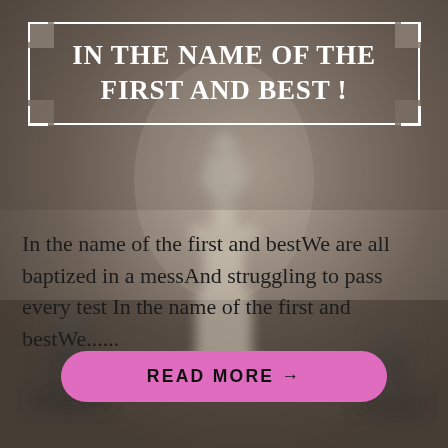[Figure (photo): Blurred background image of chess pieces on a dark grayish-brown board]
IN THE NAME OF THE FIRST AND BEST !
In the name of the first and bestWe are all baptized in a messAnd struggling to pass every test In the name of the first and bestWe......
READ MORE →